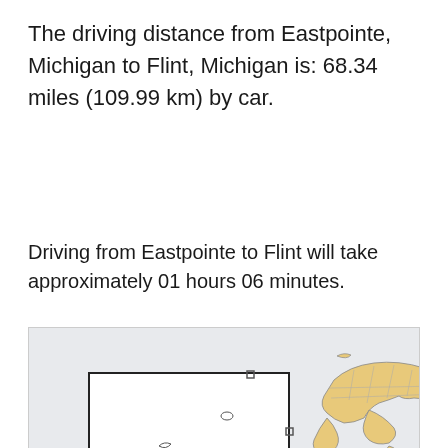The driving distance from Eastpointe, Michigan to Flint, Michigan is: 68.34 miles (109.99 km) by car.
Driving from Eastpointe to Flint will take approximately 01 hours 06 minutes.
[Figure (map): Map showing Michigan state with Upper Peninsula highlighted in tan/beige with county lines, and a zoomed inset box showing the lower Michigan area with markers for Eastpointe and Flint.]